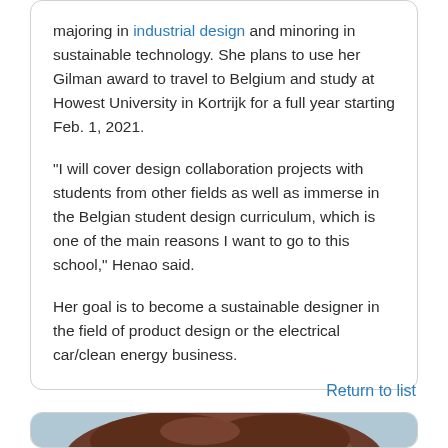majoring in industrial design and minoring in sustainable technology. She plans to use her Gilman award to travel to Belgium and study at Howest University in Kortrijk for a full year starting Feb. 1, 2021.
“I will cover design collaboration projects with students from other fields as well as immerse in the Belgian student design curriculum, which is one of the main reasons I want to go to this school,” Henao said.
Her goal is to become a sustainable designer in the field of product design or the electrical car/clean energy business.
Return to list
[Figure (photo): Partial photo of a person with reddish-brown hair, cropped at the bottom of the page, with a light blue/grey background.]